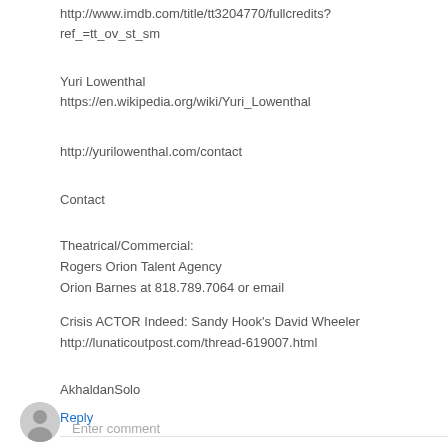http://www.imdb.com/title/tt3204770/fullcredits?ref_=tt_ov_st_sm
Yuri Lowenthal
https://en.wikipedia.org/wiki/Yuri_Lowenthal
http://yurilowenthal.com/contact
Contact
Theatrical/Commercial:
Rogers Orion Talent Agency
Orion Barnes at 818.789.7064 or email
Crisis ACTOR Indeed: Sandy Hook's David Wheeler
http://lunaticoutpost.com/thread-619007.html
AkhaldanSolo
Reply
Enter comment